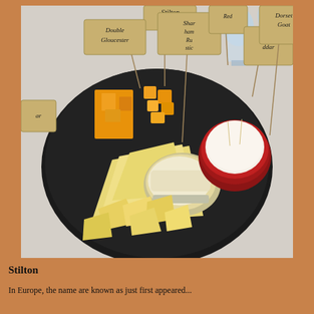[Figure (photo): A black plate/board with various labeled cheeses arranged on it. Cheese labels on small signs on sticks identify: Stilton, Double Gloucester, Sharpham Rustic, Red (partial), Cheddar (partial), Dorset Gold. Cheeses include yellow/orange hard cheeses cut into cubes and wedges, a soft white cheese in a red wax rind, and a creamy brie-style cheese. Glasses visible in background on white tablecloth.]
Stilton
In Europe, the name are known as just first appeared...